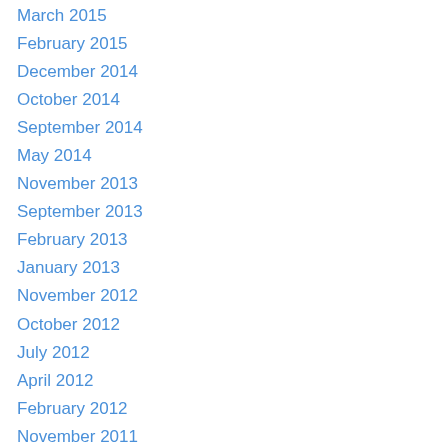March 2015
February 2015
December 2014
October 2014
September 2014
May 2014
November 2013
September 2013
February 2013
January 2013
November 2012
October 2012
July 2012
April 2012
February 2012
November 2011
October 2011
August 2011
July 2011
June 2011